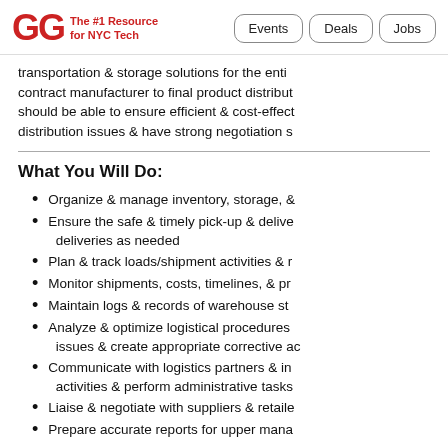GG The #1 Resource for NYC Tech | Events | Deals | Jobs
transportation & storage solutions for the entire supply chain: contract manufacturer to final product distribution. Candidates should be able to ensure efficient & cost-effective distribution issues & have strong negotiation s
What You Will Do:
Organize & manage inventory, storage, &
Ensure the safe & timely pick-up & deliveries as needed
Plan & track loads/shipment activities & r
Monitor shipments, costs, timelines, & pr
Maintain logs & records of warehouse st
Analyze & optimize logistical procedures, issues & create appropriate corrective ac
Communicate with logistics partners & in activities & perform administrative tasks
Liaise & negotiate with suppliers & retaile
Prepare accurate reports for upper mana
Who You Are: